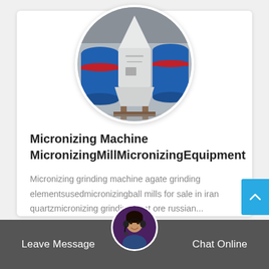[Figure (photo): Circular cropped photo of a white industrial micronizing/grinding mill machine with blue cylindrical components in a factory setting]
Micronizing Machine MicronizingMillMicronizingEquipment
Micronizing grinding machine agate grinding elementsusedmicronizingball mills for sale in iran quartzmicronizing grindingplant ore russian...
Read More →
Leave Message   Chat Online